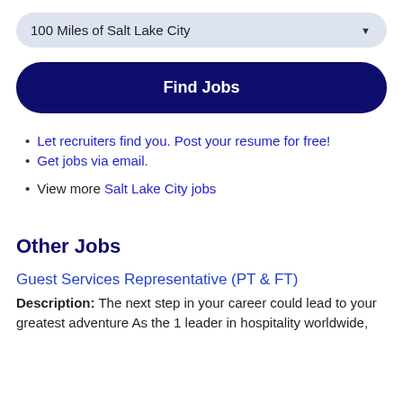100 Miles of Salt Lake City
Find Jobs
Let recruiters find you. Post your resume for free!
Get jobs via email.
View more Salt Lake City jobs
Other Jobs
Guest Services Representative (PT & FT)
Description: The next step in your career could lead to your greatest adventure As the 1 leader in hospitality worldwide,